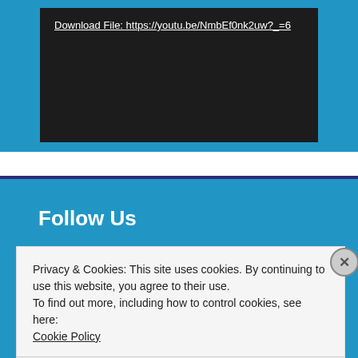[Figure (screenshot): Blue background section with embedded video player area (dark background) containing a download link for a YouTube URL: https://youtu.be/NmbEf0nk2uw?_=6]
Download File: https://youtu.be/NmbEf0nk2uw?_=6
Follow Us
Privacy & Cookies: This site uses cookies. By continuing to use this website, you agree to their use.
To find out more, including how to control cookies, see here:
Cookie Policy
Close and accept